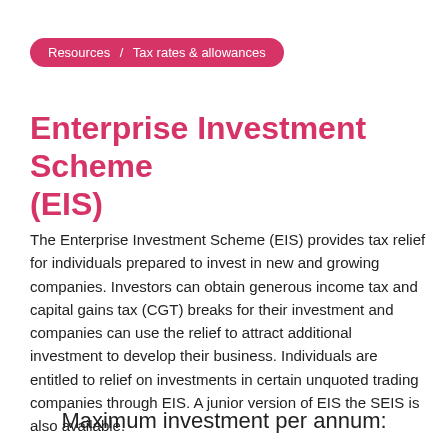Resources / Tax rates & allowances
Enterprise Investment Scheme (EIS)
The Enterprise Investment Scheme (EIS) provides tax relief for individuals prepared to invest in new and growing companies. Investors can obtain generous income tax and capital gains tax (CGT) breaks for their investment and companies can use the relief to attract additional investment to develop their business. Individuals are entitled to relief on investments in certain unquoted trading companies through EIS. A junior version of EIS the SEIS is also available.
Maximum investment per annum: